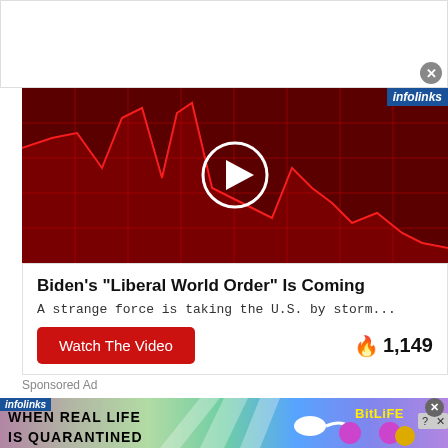[Figure (screenshot): Top white banner area with a close X button in grey circle]
[Figure (screenshot): Infolinks branded video thumbnail showing red stock chart crash graphic with play button overlay]
Biden's "Liberal World Order" Is Coming
A strange force is taking the U.S. by storm...
Watch The Video
🔥 1,149
Sponsored Ad
[Figure (screenshot): Infolinks BitLife banner ad: colorful rainbow background with text WHEN REAL LIFE IS QUARANTINED and BitLife logo with emoji characters]